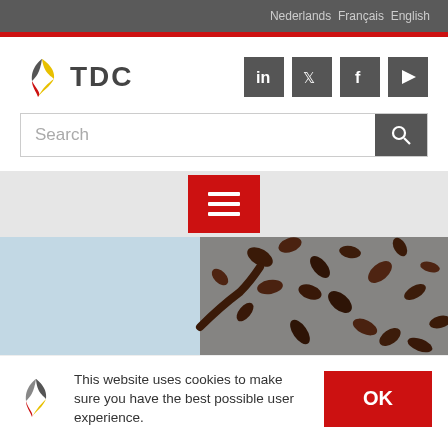Nederlands  Français  English
[Figure (logo): TDC logo with yellow and red bird/arrow mark and bold TDC text]
[Figure (infographic): Social media icon buttons: LinkedIn, Twitter, Facebook, YouTube in dark grey squares]
Search
[Figure (infographic): Red hamburger menu button with three white horizontal lines]
[Figure (photo): Cocoa or coffee beans falling/scattered against a light blue sky background]
This website uses cookies to make sure you have the best possible user experience.
OK